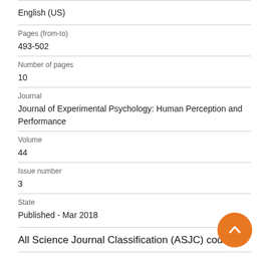English (US)
Pages (from-to)
493-502
Number of pages
10
Journal
Journal of Experimental Psychology: Human Perception and Performance
Volume
44
Issue number
3
State
Published - Mar 2018
All Science Journal Classification (ASJC) codes